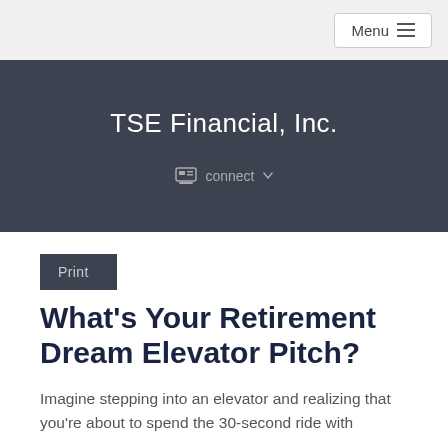Menu
TSE Financial, Inc.
connect
Print
What’s Your Retirement Dream Elevator Pitch?
Imagine stepping into an elevator and realizing that you’re about to spend the 30-second ride with